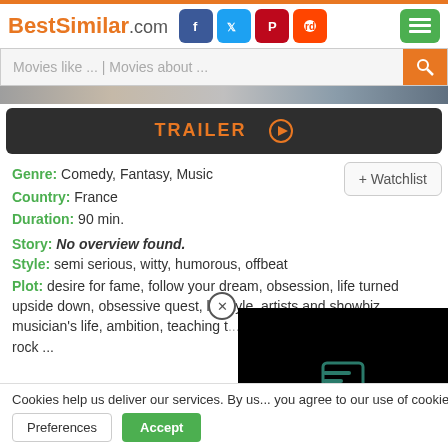BestSimilar.com
Movies like ... | Movies about ...
[Figure (screenshot): Dark trailer button bar with orange TRAILER text and play icon]
Genre: Comedy, Fantasy, Music
Country: France
Duration: 90 min.
Story: No overview found.
Style: semi serious, witty, humorous, offbeat
Plot: desire for fame, follow your dream, obsession, life turned upside down, obsessive quest, lifestyle, artists and showbiz, musician's life, ambition, teaching t... rock ...
Cookies help us deliver our services. By us... you agree to our use of cookies as describe...